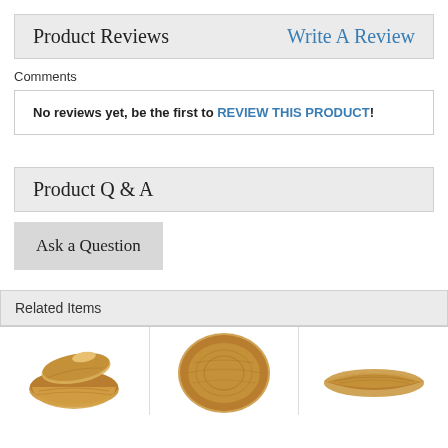Product Reviews
Write A Review
Comments
No reviews yet, be the first to REVIEW THIS PRODUCT!
Product Q & A
Ask a Question
Related Items
[Figure (photo): Three wooden bowl/dish product photos showing related items]
[Figure (photo): Round wooden tray/plate product photo]
[Figure (photo): Elongated wooden boat-shaped dish product photo]